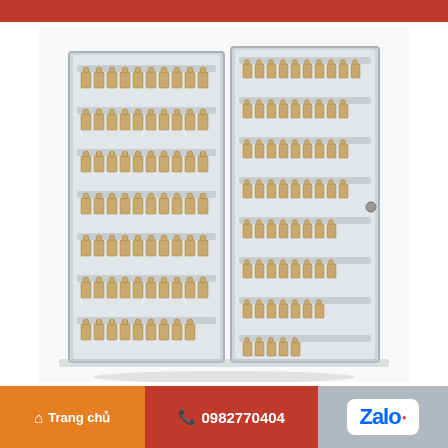[Figure (photo): A large metal key cabinet with two open doors showing multiple rows of labeled key hooks/holders organized on both the door and back panel. The cabinet is light gray metal with beige/tan key tags hanging on hooks arranged in horizontal rows.]
Trang chủ  |  0982770404  |  Zalo